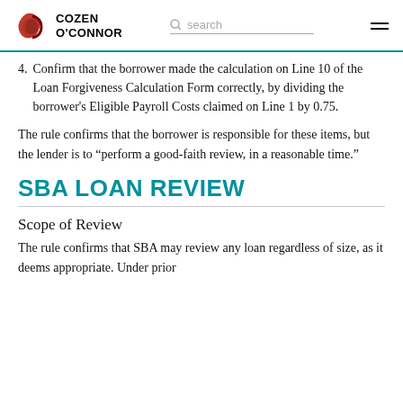COZEN O'CONNOR
4. Confirm that the borrower made the calculation on Line 10 of the Loan Forgiveness Calculation Form correctly, by dividing the borrower's Eligible Payroll Costs claimed on Line 1 by 0.75.
The rule confirms that the borrower is responsible for these items, but the lender is to “perform a good-faith review, in a reasonable time.”
SBA LOAN REVIEW
Scope of Review
The rule confirms that SBA may review any loan regardless of size, as it deems appropriate. Under prior